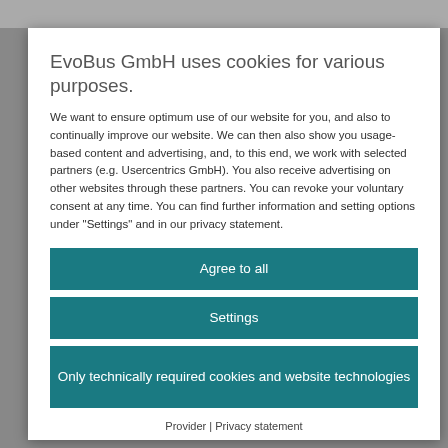EvoBus GmbH uses cookies for various purposes.
We want to ensure optimum use of our website for you, and also to continually improve our website. We can then also show you usage-based content and advertising, and, to this end, we work with selected partners (e.g. Usercentrics GmbH). You also receive advertising on other websites through these partners. You can revoke your voluntary consent at any time. You can find further information and setting options under "Settings" and in our privacy statement.
Agree to all
Settings
Only technically required cookies and website technologies
Provider | Privacy statement